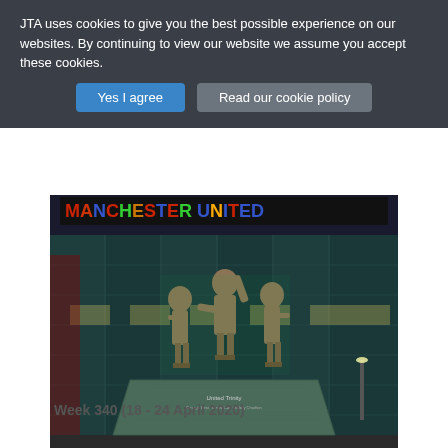JTA uses cookies to give you the best possible experience on our websites. By continuing to view our website we assume you accept these cookies.
Yes I agree
Read our cookie policy
[Figure (photo): Bronze statue of three football players in front of Manchester United stadium at night, with colorful LED signs reading MANCHESTER UNITED in the background. The statue stands on a large dark green marble plinth.]
Week 340 (18 - 24 April 2020)